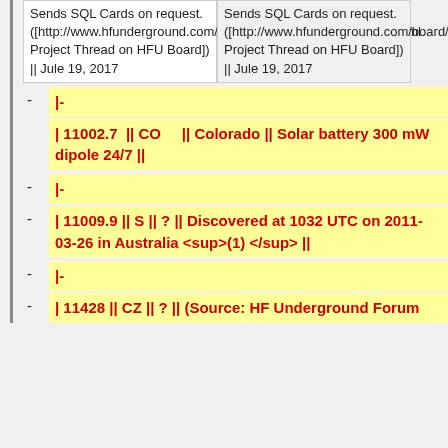| Sends SQL Cards on request. ([http://www.hfunderground.com/board/index.php/topic,12795.0.html Project Thread on HFU Board]) || Jule 19, 2017 | Sends SQL Cards on request. ([http://www.hfunderground.com/board/index.php/topic,12795.0.html Project Thread on HFU Board]) || Jule 19, 2017 |
|- | 11002.7  || CO     || Colorado || Solar battery 300 mW dipole 24/7 ||
|- | 11009.9 || S || ? || Discovered at 1032 UTC on 2011-03-26 in Australia <sup>(1)</sup> ||
|- | 11428 || CZ || ? || (Source: HF Underground Forum [http://...])